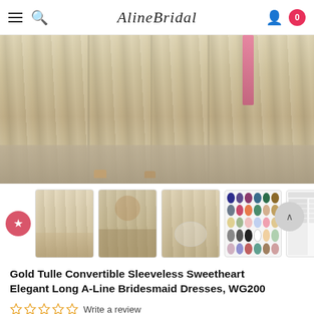AlineBridal — navigation with hamburger menu, search, user icon, cart (0)
[Figure (photo): Close-up photo of gold/champagne tulle bridesmaid dress fabric trailing on gravel ground with a pink ribbon accent visible]
[Figure (photo): Thumbnail 1: group of bridesmaids in champagne/gold dresses]
[Figure (photo): Thumbnail 2: bridesmaids in gold dresses outdoors]
[Figure (photo): Thumbnail 3: bridesmaid holding flowers in gold dress]
[Figure (other): Thumbnail 4: fabric color swatch chart]
[Figure (table-as-image): Thumbnail 5: size chart table]
Gold Tulle Convertible Sleeveless Sweetheart Elegant Long A-Line Bridesmaid Dresses, WG200
Write a review